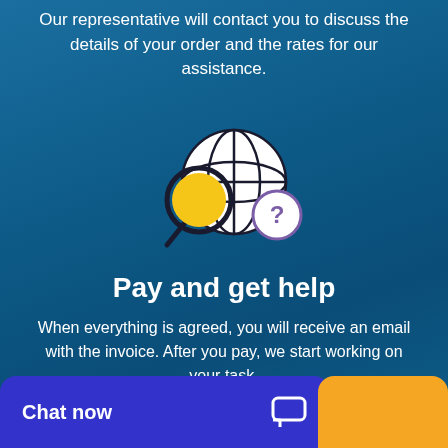Our representative will contact you to discuss the details of your order and the rates for our assistance.
[Figure (illustration): Icon showing a magnifying glass with a yellow/orange circle lens overlapping a globe/grid sphere, with a purple question mark speech bubble to the right.]
Pay and get help
When everything is agreed, you will receive an email with the invoice. After you pay, we start working on your task.
Chat now